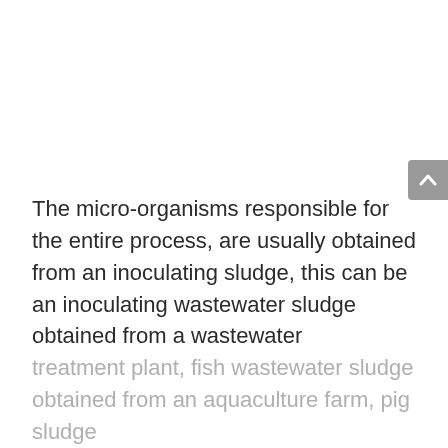The micro-organisms responsible for the entire process, are usually obtained from an inoculating sludge, this can be an inoculating wastewater sludge obtained from a wastewater treatment plant, fish wastewater sludge obtained from an aquaculture farm, pig sludge